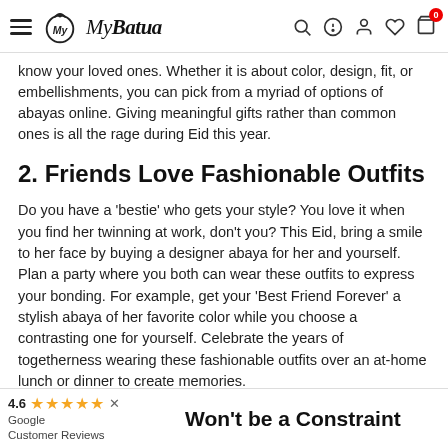MyBatua — navigation header with hamburger menu, logo, search, help, account, wishlist, cart (0)
know your loved ones. Whether it is about color, design, fit, or embellishments, you can pick from a myriad of options of abayas online. Giving meaningful gifts rather than common ones is all the rage during Eid this year.
2. Friends Love Fashionable Outfits
Do you have a ‘bestie’ who gets your style? You love it when you find her twinning at work, don’t you? This Eid, bring a smile to her face by buying a designer abaya for her and yourself. Plan a party where you both can wear these outfits to express your bonding. For example, get your ‘Best Friend Forever’ a stylish abaya of her favorite color while you choose a contrasting one for yourself. Celebrate the years of togetherness wearing these fashionable outfits over an at-home lunch or dinner to create memories.
The whole point of buying fashionable clothing as a gift is to share the festival cheer saying ‘We Are Together, Forever.’ Make her feel special by keeping in mind her likings or preferences while buying abayas online.
4.6 ★★★★★ ✕ Google Customer Reviews
Won’t be a Constraint